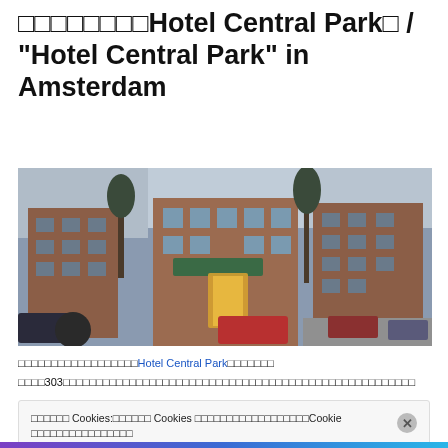□□□□□□□□Hotel Central Park□ / "Hotel Central Park" in Amsterdam
[Figure (photo): Panoramic photo of Hotel Central Park in Amsterdam showing brick buildings, a green awning entrance with glowing interior, trees in winter, and parked cars.]
□□□□□□□□□□□□□□□□□□Hotel Central Park□□□□□□□
□□□□303□□□□□□□□□□□□□□□□□□□□□□□□□□□□□□□□□□□□□□□□□□□□□□□□□□□□□
□□□□□□ Cookies:□□□□□□ Cookies □□□□□□□□□□□□□□□□□□Cookie □□□□□□□□□□□□□□□□Cookie □□□□□□□□□□□□□□□□□□□□: Cookie □□□□
□□□□□